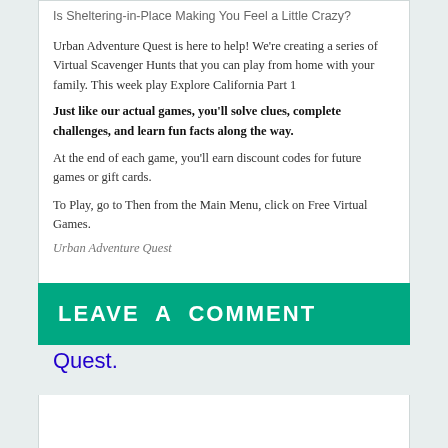Is Sheltering-in-Place Making You Feel a Little Crazy?
Urban Adventure Quest is here to help! We're creating a series of Virtual Scavenger Hunts that you can play from home with your family. This week play Explore California Part 1
Just like our actual games, you'll solve clues, complete challenges, and learn fun facts along the way.
At the end of each game, you'll earn discount codes for future games or gift cards.
To Play, go to Then from the Main Menu, click on Free Virtual Games.
Urban Adventure Quest
Stay Safe, Have Fun, and Explore Virtually with Urban Adventure Quest.
LEAVE A COMMENT